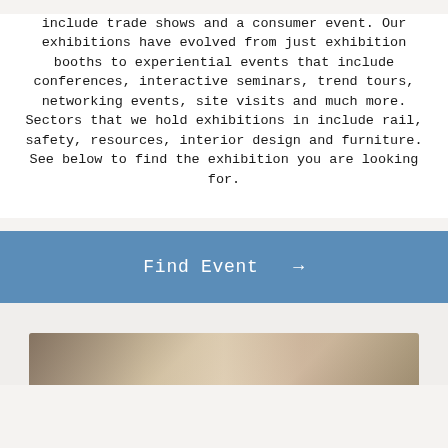include trade shows and a consumer event. Our exhibitions have evolved from just exhibition booths to experiential events that include conferences, interactive seminars, trend tours, networking events, site visits and much more. Sectors that we hold exhibitions in include rail, safety, resources, interior design and furniture. See below to find the exhibition you are looking for.
Find Event →
[Figure (photo): Partial photo strip showing what appears to be an exhibition or event venue, visible at the bottom of the page.]